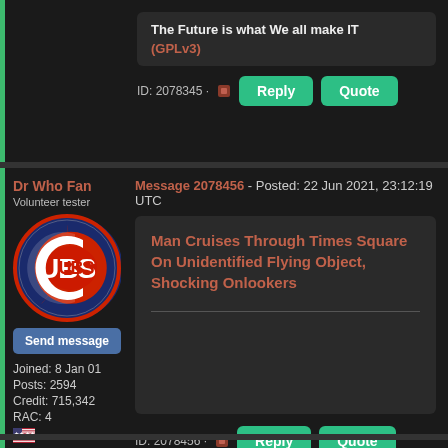The Future is what We all make IT (GPLv3)
ID: 2078345 · Reply Quote
Dr Who Fan
Volunteer tester
[Figure (logo): Chicago Cubs logo - circular logo with navy blue ring and red C containing 'UBS' text]
Send message
Joined: 8 Jan 01
Posts: 2594
Credit: 715,342
RAC: 4
Message 2078456 - Posted: 22 Jun 2021, 23:12:19 UTC
Man Cruises Through Times Square On Unidentified Flying Object, Shocking Onlookers
ID: 2078456 · Reply Quote